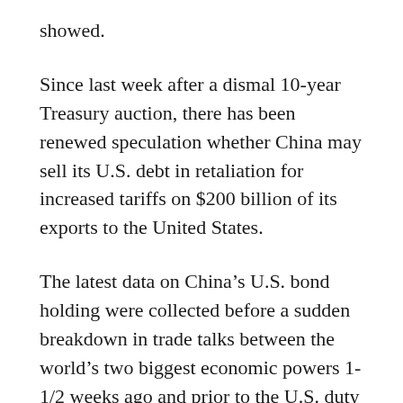showed.
Since last week after a dismal 10-year Treasury auction, there has been renewed speculation whether China may sell its U.S. debt in retaliation for increased tariffs on $200 billion of its exports to the United States.
The latest data on China’s U.S. bond holding were collected before a sudden breakdown in trade talks between the world’s two biggest economic powers 1-1/2 weeks ago and prior to the U.S. duty hike on Chinese goods, which went into effect on Friday.
China sold $20.45 billion in Treasuries in March, the most since October 2016, following $1.08 billion in purchases the month before.